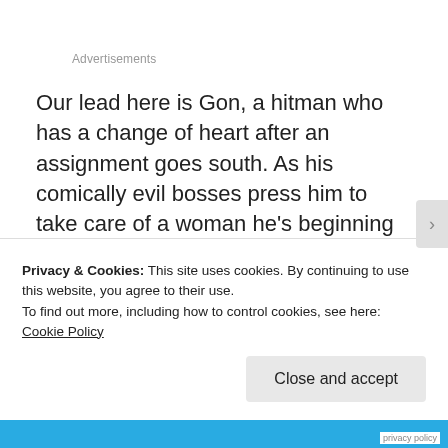Advertisements
Our lead here is Gon, a hitman who has a change of heart after an assignment goes south. As his comically evil bosses press him to take care of a woman he’s beginning to fall for, he decides to go rogue and flip the script on them. What ensues is one of the most action-packed, high-budget thrillers this genre has spawned. Die Hard is channeled in
Privacy & Cookies: This site uses cookies. By continuing to use this website, you agree to their use.
To find out more, including how to control cookies, see here: Cookie Policy
Close and accept